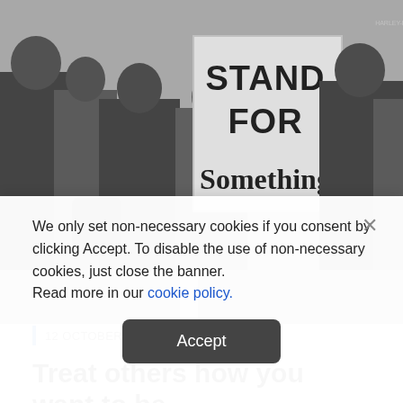[Figure (photo): Black and white photograph of protesters, one holding a sign that reads 'STAND FOR Something']
12 OCTOBER 2020 10:32
Treat others how you want to be treated
We only set non-necessary cookies if you consent by clicking Accept. To disable the use of non-necessary cookies, just close the banner. Read more in our cookie policy.
Accept